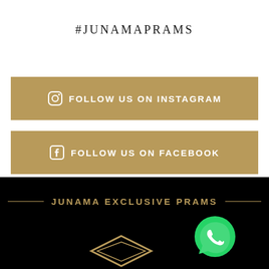#JUNAMAPRAMS
FOLLOW US ON INSTAGRAM
FOLLOW US ON FACEBOOK
JUNAMA EXCLUSIVE PRAMS